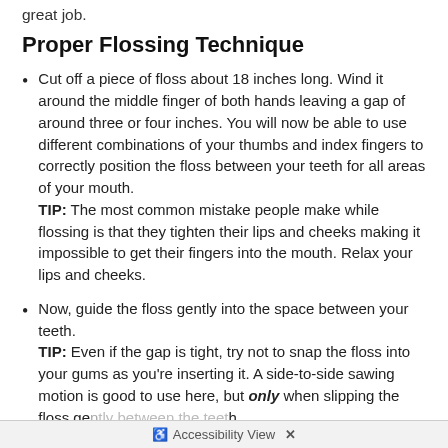great job.
Proper Flossing Technique
Cut off a piece of floss about 18 inches long. Wind it around the middle finger of both hands leaving a gap of around three or four inches. You will now be able to use different combinations of your thumbs and index fingers to correctly position the floss between your teeth for all areas of your mouth. TIP: The most common mistake people make while flossing is that they tighten their lips and cheeks making it impossible to get their fingers into the mouth. Relax your lips and cheeks.
Now, guide the floss gently into the space between your teeth. TIP: Even if the gap is tight, try not to snap the floss into your gums as you're inserting it. A side-to-side sawing motion is good to use here, but only when slipping the floss gently between the teeth.